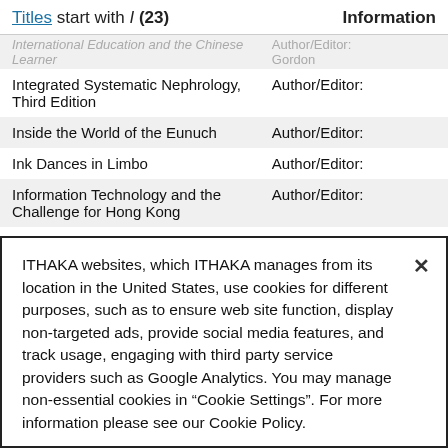Titles start with I (23)    Information
| Titles start with I (23) | Information |
| --- | --- |
| International Education and the Chinese Learner | Author/Editor: Gordon |
| Integrated Systematic Nephrology, Third Edition | Author/Editor: |
| Inside the World of the Eunuch | Author/Editor: |
| Ink Dances in Limbo | Author/Editor: |
| Information Technology and the Challenge for Hong Kong | Author/Editor: |
| Indonesian Cinema after the New Order: Going Mainstream | Author/Editor: |
| Independent Language Learning | Author/Editor: |
ITHAKA websites, which ITHAKA manages from its location in the United States, use cookies for different purposes, such as to ensure web site function, display non-targeted ads, provide social media features, and track usage, engaging with third party service providers such as Google Analytics. You may manage non-essential cookies in “Cookie Settings”. For more information please see our Cookie Policy.